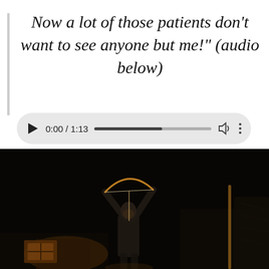Now a lot of those patients don’t want to see anyone but me!” (audio below)
[Figure (screenshot): Audio player widget showing 0:00 / 1:13, with play button, progress bar partially filled, volume icon, and options dots.]
[Figure (photo): Dark nighttime photo of a person holding a bow and arrow raised overhead, in low amber light against a dark background.]